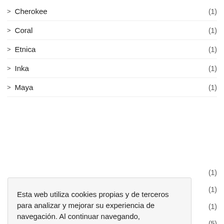Cherokee (1)
Coral (1)
Etnica (1)
Inka (1)
Maya (1)
Esta web utiliza cookies propias y de terceros para analizar y mejorar su experiencia de navegación. Al continuar navegando, entendemos que acepta su uso. Haga clic en "Aceptar" para minimizar este mensaje. Más información en ajustes de cookies.
Cookie Settings  Accept All